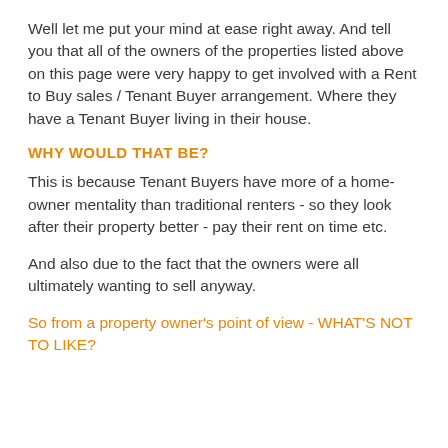Well let me put your mind at ease right away. And tell you that all of the owners of the properties listed above on this page were very happy to get involved with a Rent to Buy sales / Tenant Buyer arrangement. Where they have a Tenant Buyer living in their house.
WHY WOULD THAT BE?
This is because Tenant Buyers have more of a home-owner mentality than traditional renters - so they look after their property better - pay their rent on time etc.
And also due to the fact that the owners were all ultimately wanting to sell anyway.
So from a property owner's point of view - WHAT'S NOT TO LIKE?